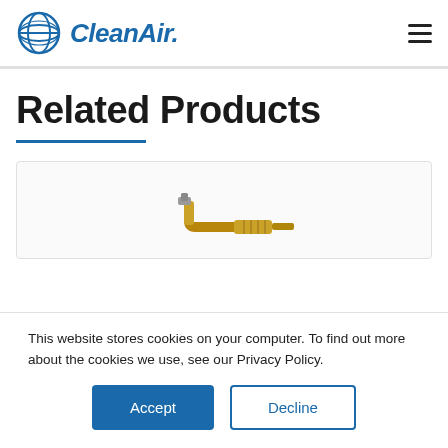CleanAir.
Related Products
[Figure (photo): A brass angled fitting/nozzle accessory product on a light card background]
This website stores cookies on your computer. To find out more about the cookies we use, see our Privacy Policy.
Accept
Decline